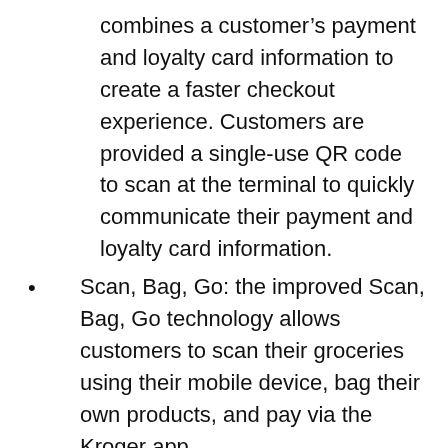combines a customer's payment and loyalty card information to create a faster checkout experience. Customers are provided a single-use QR code to scan at the terminal to quickly communicate their payment and loyalty card information.
Scan, Bag, Go: the improved Scan, Bag, Go technology allows customers to scan their groceries using their mobile device, bag their own products, and pay via the Kroger app.